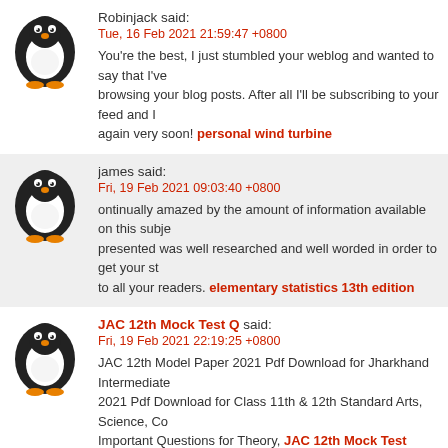Robinjack said:
Tue, 16 Feb 2021 21:59:47 +0800
You're the best, I just stumbled your weblog and wanted to say that I've really enjoyed browsing your blog posts. After all I'll be subscribing to your feed and I hope you write again very soon! personal wind turbine
james said:
Fri, 19 Feb 2021 09:03:40 +0800
ontinually amazed by the amount of information available on this subject. presented was well researched and well worded in order to get your st to all your readers. elementary statistics 13th edition
JAC 12th Mock Test Q said:
Fri, 19 Feb 2021 22:19:25 +0800
JAC 12th Model Paper 2021 Pdf Download for Jharkhand Intermediate 2021 Pdf Download for Class 11th & 12th Standard Arts, Science, Com Important Questions for Theory, JAC 12th Mock Test Question 2021 MCQ Question Bank for English Medium, Hindi Medium practice guess question pape Academic Council, Ranchi Board has announced intermediate model set questions wi papers to all Arts, Science and Commerce stream general and vocational course stud wise for the new revised syllabus to all government and private college students to the